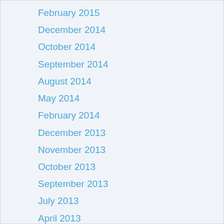February 2015
December 2014
October 2014
September 2014
August 2014
May 2014
February 2014
December 2013
November 2013
October 2013
September 2013
July 2013
April 2013
March 2013
February 2013
January 2013
December 2012
November 2012
September 2012